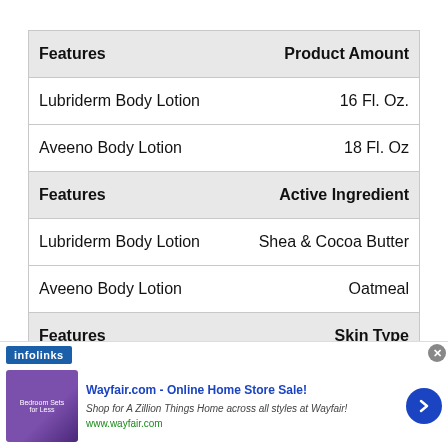| Features | Product Amount |
| --- | --- |
| Lubriderm Body Lotion | 16 Fl. Oz. |
| Aveeno Body Lotion | 18 Fl. Oz |
| Features | Active Ingredient |
| Lubriderm Body Lotion | Shea & Cocoa Butter |
| Aveeno Body Lotion | Oatmeal |
| Features | Skin Type |
[Figure (screenshot): Wayfair.com advertisement banner with infolinks tag showing 'Wayfair.com - Online Home Store Sale!' with bedroom furniture image]